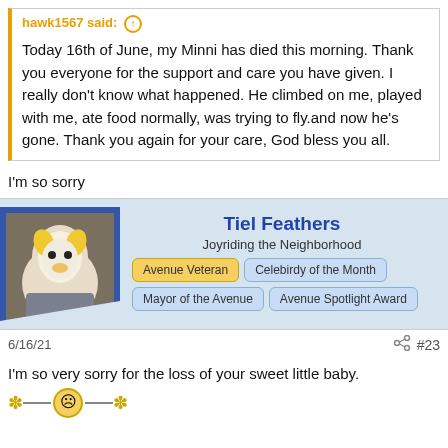hawk1567 said: ↑
Today 16th of June, my Minni has died this morning. Thank you everyone for the support and care you have given. I really don't know what happened. He climbed on me, played with me, ate food normally, was trying to fly.and now he's gone. Thank you again for your care, God bless you all.
I'm so sorry
[Figure (screenshot): User profile card for Tiel Feathers showing avatar of cockatiel, username, title 'Joyriding the Neighborhood', and badges: Avenue Veteran, Celebirdy of the Month, Mayor of the Avenue, Avenue Spotlight Award]
6/16/21   #23
I'm so very sorry for the loss of your sweet little baby.
[Figure (illustration): Decorative emoji row: star icon, horizontal line, sad face emoji, horizontal line, star icon]